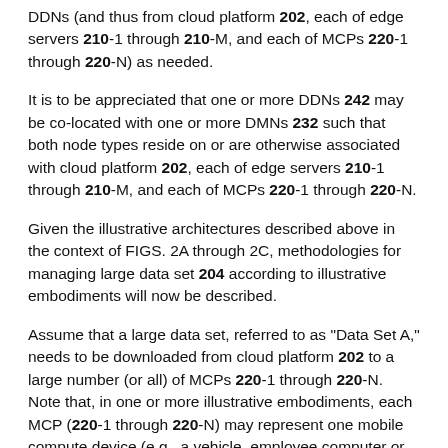DDNs (and thus from cloud platform 202, each of edge servers 210-1 through 210-M, and each of MCPs 220-1 through 220-N) as needed.
It is to be appreciated that one or more DDNs 242 may be co-located with one or more DMNs 232 such that both node types reside on or are otherwise associated with cloud platform 202, each of edge servers 210-1 through 210-M, and each of MCPs 220-1 through 220-N.
Given the illustrative architectures described above in the context of FIGS. 2A through 2C, methodologies for managing large data set 204 according to illustrative embodiments will now be described.
Assume that a large data set, referred to as "Data Set A," needs to be downloaded from cloud platform 202 to a large number (or all) of MCPs 220-1 through 220-N. Note that, in one or more illustrative embodiments, each MCP (220-1 through 220-N) may represent one mobile compute device (e.g., a vehicle, employee computer or tablet, or other mobile device). Further assume that the edge servers 210-1 through 210-M between the cloud platform 202 and the MCPs 220-1 through 220-N do not have enough bandwidth